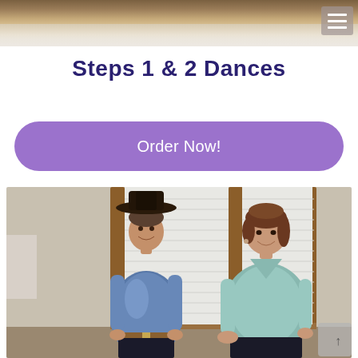[Figure (photo): Header banner showing a wooden dance floor background]
Steps 1 & 2 Dances
Order Now!
[Figure (photo): Two people dancing: a man wearing a black cowboy hat and patterned western shirt on the left, and a woman in a light teal blouse on the right, standing in front of window blinds with wooden frames]